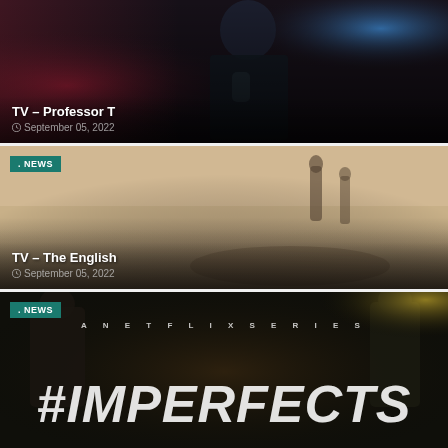[Figure (photo): Dark moody photo of a man in a suit in a dimly lit room with blue and red lighting — Professor T TV show promotional image]
TV – Professor T
September 05, 2022
[Figure (photo): Desaturated sepia-toned promotional image for The English TV show, showing silhouetted figures in a Western landscape]
NEWS
TV – The English
September 05, 2022
[Figure (photo): The Imperfects Netflix series promotional poster with large white bold italic title text and character imagery]
NEWS
A NETFLIX SERIES
#IMPERFECTS